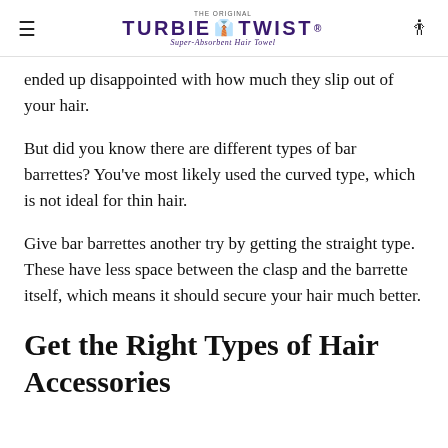THE ORIGINAL TURBIE TWIST Super-Absorbent Hair Towel
ended up disappointed with how much they slip out of your hair.
But did you know there are different types of bar barrettes? You've most likely used the curved type, which is not ideal for thin hair.
Give bar barrettes another try by getting the straight type. These have less space between the clasp and the barrette itself, which means it should secure your hair much better.
Get the Right Types of Hair Accessories